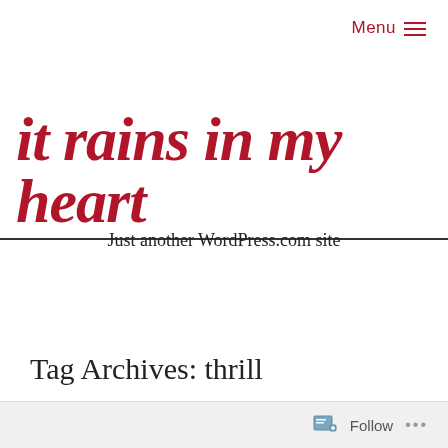Menu ≡
it rains in my heart
Just another WordPress.com site
Tag Archives: thrill
Follow ...